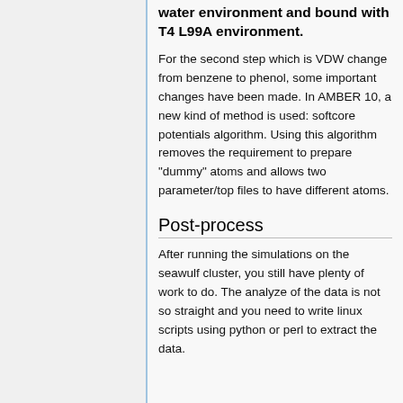water environment and bound with T4 L99A environment.
For the second step which is VDW change from benzene to phenol, some important changes have been made. In AMBER 10, a new kind of method is used: softcore potentials algorithm. Using this algorithm removes the requirement to prepare "dummy" atoms and allows two parameter/top files to have different atoms.
Post-process
After running the simulations on the seawulf cluster, you still have plenty of work to do. The analyze of the data is not so straight and you need to write linux scripts using python or perl to extract the data.